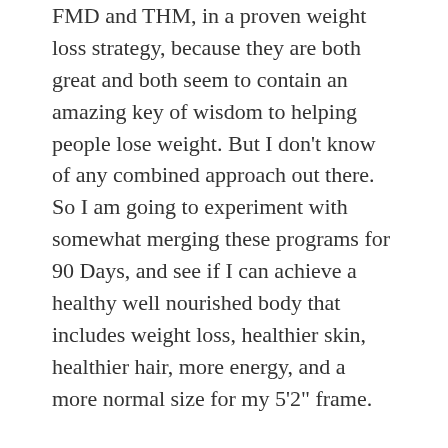FMD and THM, in a proven weight loss strategy, because they are both great and both seem to contain an amazing key of wisdom to helping people lose weight. But I don't know of any combined approach out there. So I am going to experiment with somewhat merging these programs for 90 Days, and see if I can achieve a healthy well nourished body that includes weight loss, healthier skin, healthier hair, more energy, and a more normal size for my 5'2" frame.
For 90 days I am following a merged plan of both the FMD and THM strategies, and using great recipes from both. You can follow my pictures on Instagram for the most current photos of my meals. It is easier for me to wrap